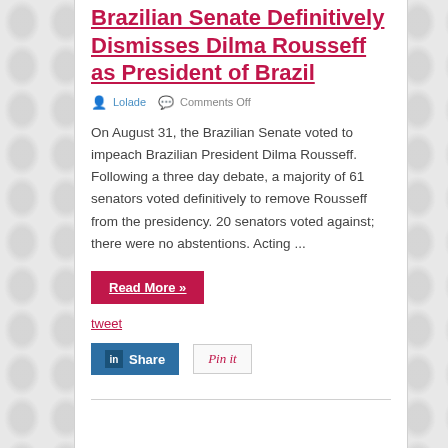Brazilian Senate Definitively Dismisses Dilma Rousseff as President of Brazil
Lolade   Comments Off
On August 31, the Brazilian Senate voted to impeach Brazilian President Dilma Rousseff. Following a three day debate, a majority of 61 senators voted definitively to remove Rousseff from the presidency. 20 senators voted against; there were no abstentions. Acting ...
Read More »
tweet
[Figure (other): LinkedIn Share button and Pinterest Pin it button]